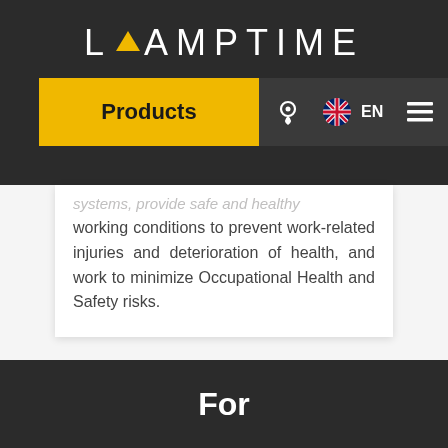[Figure (logo): Lamptime logo with yellow triangle between L and AMPTIME text on dark background]
Products | EN
systems, provide safe and healthy working conditions to prevent work-related injuries and deterioration of health, and work to minimize Occupational Health and Safety risks.
For